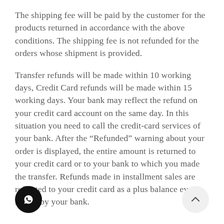The shipping fee will be paid by the customer for the products returned in accordance with the above conditions. The shipping fee is not refunded for the orders whose shipment is provided.
Transfer refunds will be made within 10 working days, Credit Card refunds will be made within 15 working days. Your bank may reflect the refund on your credit card account on the same day. In this situation you need to call the credit-card services of your bank. After the “Refunded” warning about your order is displayed, the entire amount is returned to your credit card or to your bank to which you made the transfer. Refunds made in installment sales are reflected to your credit card as a plus balance every month by your bank.
[Figure (other): WhatsApp chat button (black circle with WhatsApp icon) at bottom left]
[Figure (other): Scroll to top button (light grey circle with upward chevron) at bottom right]